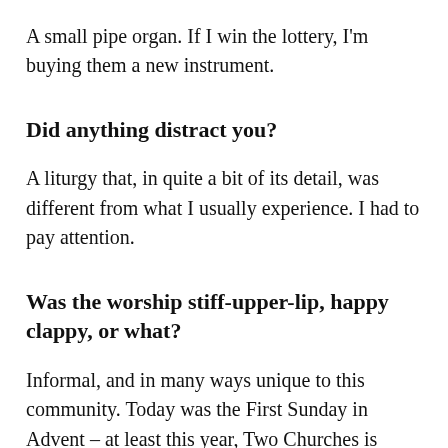A small pipe organ. If I win the lottery, I'm buying them a new instrument.
Did anything distract you?
A liturgy that, in quite a bit of its detail, was different from what I usually experience. I had to pay attention.
Was the worship stiff-upper-lip, happy clappy, or what?
Informal, and in many ways unique to this community. Today was the First Sunday in Advent – at least this year, Two Churches is celebrating a seven-week Advent season, with one of the 'O' Antiphons (the antiphons to the Magnificat for the last seven days of Advent) serving as the theme for